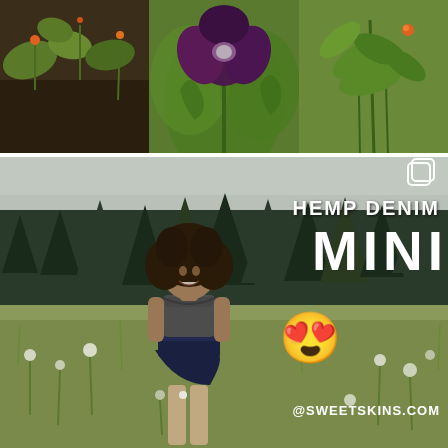[Figure (photo): Top collage of garden/plant photos: left shows dark soil with orange flowers and green plants; center shows a large deep purple/dark red poppy flower with green leaves; right shows green leafy plants with small orange flower.]
[Figure (photo): Main photo of a young woman with curly hair standing in a wildflower meadow wearing a grey crop top and dark navy hemp denim mini skirt. Background shows tall evergreen trees. Overlaid text reads 'HEMP DENIM MINI' with a heart-eyes emoji and '@SWEETSKINS.COM'. A Snapchat-style copy icon appears in the upper right.]